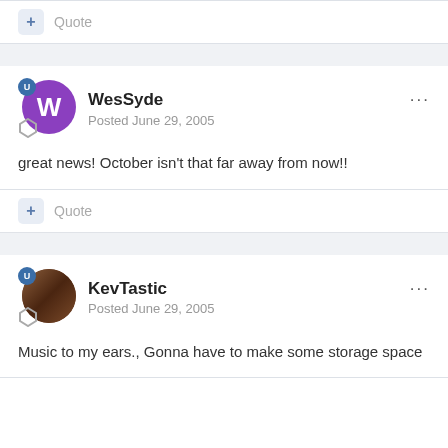+ Quote
WesSyde
Posted June 29, 2005
great news! October isn't that far away from now!!
+ Quote
KevTastic
Posted June 29, 2005
Music to my ears., Gonna have to make some storage space